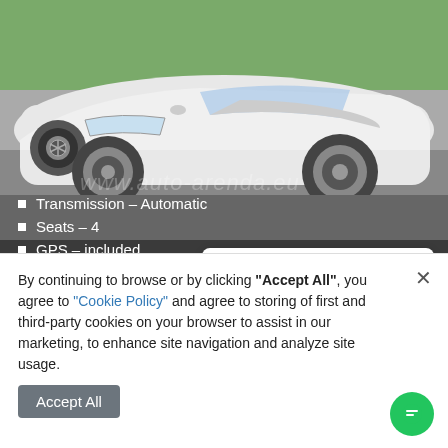[Figure (photo): White Mercedes-Benz C-Class Cabriolet photographed from front-left angle on a road, with green trees in background. Watermark text www.auto-arenda.eu visible on the image.]
Transmission – Automatic
Seats – 4
GPS – included
price from €250 per day
car details and prices ❯
[Figure (photo): Partial view of a car at Milano Linate airport with blue sky and street lights in background.]
Hire car in the Milano Linate airport (LIN)
Mercedes-Benz C-Class C 200 Cabriolet AMG Equipment
By continuing to browse or by clicking "Accept All", you agree to "Cookie Policy" and agree to storing of first and third-party cookies on your browser to assist in our marketing, to enhance site navigation and analyze site usage.
Accept All